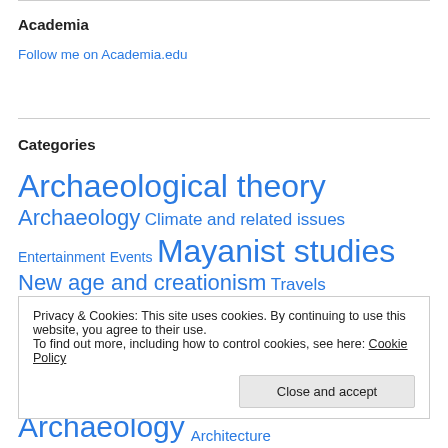Academia
Follow me on Academia.edu
Categories
Archaeological theory  Archaeology  Climate and related issues  Entertainment  Events  Mayanist studies  New age and creationism  Travels
Privacy & Cookies: This site uses cookies. By continuing to use this website, you agree to their use.
To find out more, including how to control cookies, see here: Cookie Policy
Close and accept
Archaeology  Architecture